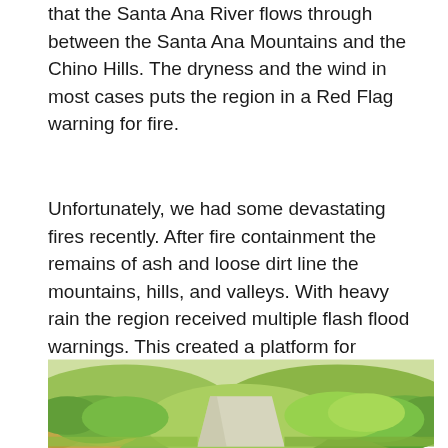that the Santa Ana River flows through between the Santa Ana Mountains and the Chino Hills. The dryness and the wind in most cases puts the region in a Red Flag warning for fire.
Unfortunately, we had some devastating fires recently. After fire containment the remains of ash and loose dirt line the mountains, hills, and valleys. With heavy rain the region received multiple flash flood warnings. This created a platform for mudslides and sink holes.
[Figure (photo): A winding dirt/paved path through green and dry shrubby hillside vegetation, bright sunny scene with lush green bushes on both sides of the trail.]